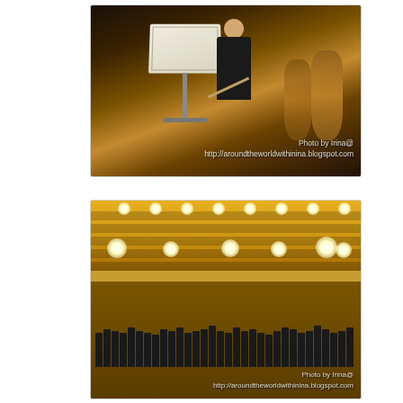[Figure (photo): Close-up photo of an orchestra conductor at a music stand holding a baton, with violins visible in the background. Warm amber/dark tones. Watermark reads: Photo by Irina@ http://aroundtheworldwithinina.blogspot.com]
[Figure (photo): Wide shot of a concert hall with an orchestra on stage. Ceiling has wooden slat panels with rows of bright stage lights. The full orchestra is visible on a warmly lit stage. Watermark reads: Photo by Irina@ http://aroundtheworldwithinina.blogspot.com]